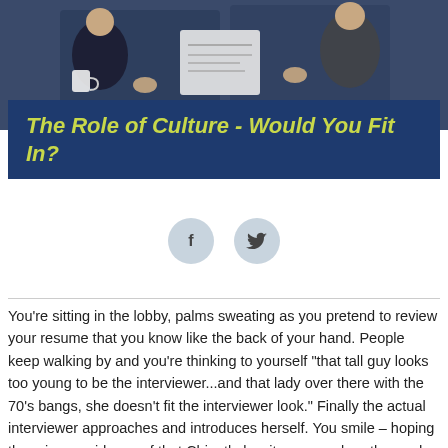[Figure (photo): Overhead view of people in business attire sitting together, one holding a coffee cup and another holding documents or a tablet]
The Role of Culture - Would You Fit In?
[Figure (infographic): Social media share buttons: Facebook (f) and Twitter (bird icon) in light blue circles]
You're sitting in the lobby, palms sweating as you pretend to review your resume that you know like the back of your hand. People keep walking by and you're thinking to yourself "that tall guy looks too young to be the interviewer...and that lady over there with the 70's bangs, she doesn't fit the interviewer look." Finally the actual interviewer approaches and introduces herself. You smile – hoping there is no evidence of that Chipotle burrito on your breath – and off you go into your interview!